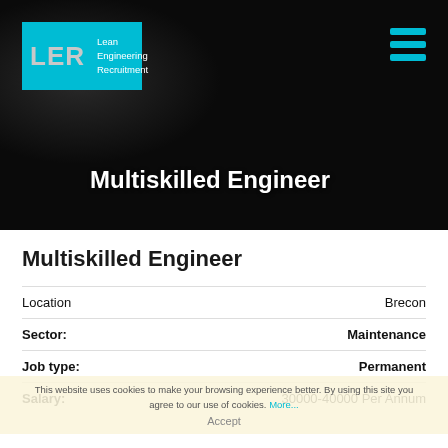[Figure (screenshot): Hero banner with dark glossy abstract black background, LER logo in cyan top-left, hamburger menu icon in cyan top-right, and 'Multiskilled Engineer' title text centered-left near bottom]
Multiskilled Engineer
| Location | Brecon |
| Sector: | Maintenance |
| Job type: | Permanent |
| Salary: | 30000-40000 Per Annum |
This website uses cookies to make your browsing experience better. By using this site you agree to our use of cookies. More... Accept